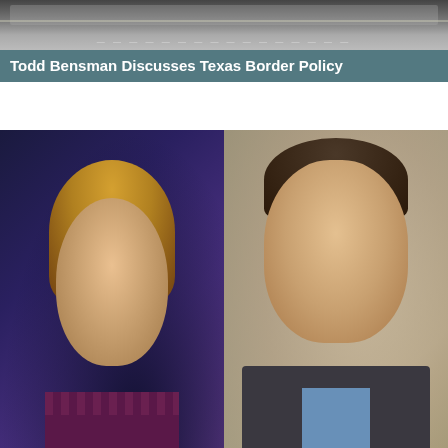[Figure (screenshot): TV screenshot showing Todd Bensman discussing Texas Border Policy]
Todd Bensman Discusses Texas Border Policy
[Figure (screenshot): TV screenshot split screen showing a female anchor on the left and Steve Camarota on the right]
Steve Camarota Discusses Housing Afghans in Hotels
New Books
[Figure (photo): Book cover: Jerry Kammer - Losing Control]
[Figure (photo): Book cover: America's Covert]